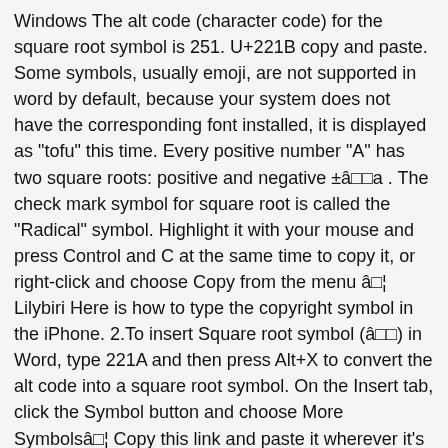Windows The alt code (character code) for the square root symbol is 251. U+221B copy and paste. Some symbols, usually emoji, are not supported in word by default, because your system does not have the corresponding font installed, it is displayed as "tofu" this time. Every positive number "A" has two square roots: positive and negative ±â√a . The check mark symbol for square root is called the "Radical" symbol. Highlight it with your mouse and press Control and C at the same time to copy it, or right-click and choose Copy from the menu â¦ Lilybiri Here is how to type the copyright symbol in the iPhone. 2.To insert Square root symbol (â√) in Word, type 221A and then press Alt+X to convert the alt code into a square root symbol. On the Insert tab, click the Symbol button and choose More Symbolsâ¦ Copy this link and paste it wherever it's visible, close to where youâ√re using the resource. Are Math Symbols Universal Copy and paste shortcuts To start, click the Windows icon on the bottom left corner of the screen, go to Windows Accessories, and then click Character Map. If you use the website further, we assume your consent. Or you can highlight the square root symbol, click [Ctrl] C, go to your document â¦ Because